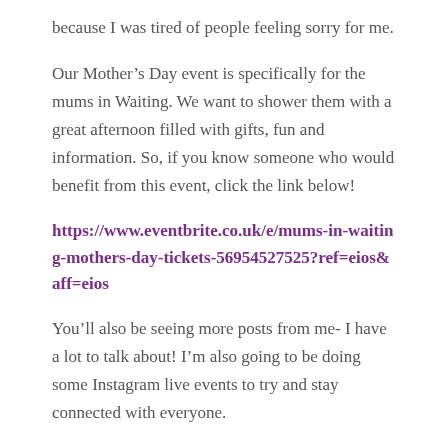because I was tired of people feeling sorry for me.
Our Mother’s Day event is specifically for the mums in Waiting. We want to shower them with a great afternoon filled with gifts, fun and information. So, if you know someone who would benefit from this event, click the link below!
https://www.eventbrite.co.uk/e/mums-in-waiting-mothers-day-tickets-56954527525?ref=eios&aff=eios
You’ll also be seeing more posts from me- I have a lot to talk about! I’m also going to be doing some Instagram live events to try and stay connected with everyone.
I haven’t been to the gym in about six months so I think it’s about time that I renew my membership and get a move on with staying healthy. Speaking of health, I am now about to...